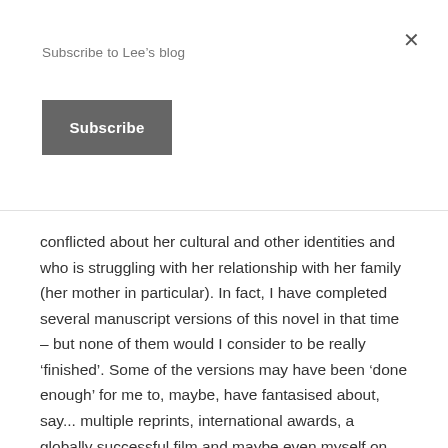Subscribe to Lee's blog
Subscribe
conflicted about her cultural and other identities and who is struggling with her relationship with her family (her mother in particular). In fact, I have completed several manuscript versions of this novel in that time – but none of them would I consider to be really ‘finished’. Some of the versions may have been ‘done enough’ for me to, maybe, have fantasised about, say... multiple reprints, international awards, a globally successful film and maybe even myself on stage accepting the Pulitzer...